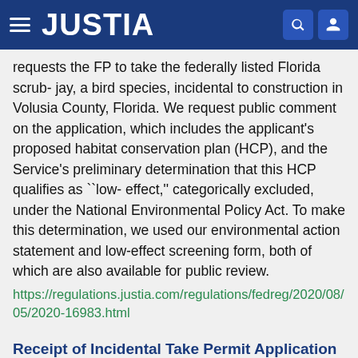JUSTIA
requests the FP to take the federally listed Florida scrub- jay, a bird species, incidental to construction in Volusia County, Florida. We request public comment on the application, which includes the applicant's proposed habitat conservation plan (HCP), and the Service's preliminary determination that this HCP qualifies as ``low- effect,'' categorically excluded, under the National Environmental Policy Act. To make this determination, we used our environmental action statement and low-effect screening form, both of which are also available for public review.
https://regulations.justia.com/regulations/fedreg/2020/08/05/2020-16983.html
Receipt of Incidental Take Permit Application and Proposed Habitat Conservation Plan for the Sand Skink, Orange County, FL; Categorical Exclusion